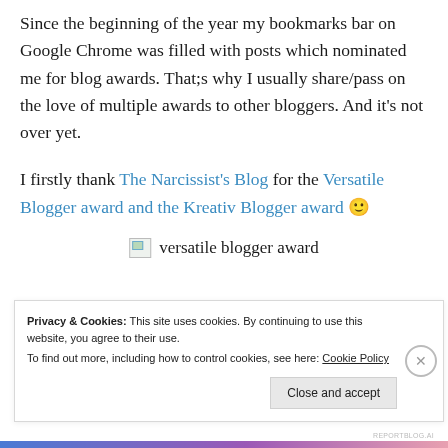Since the beginning of the year my bookmarks bar on Google Chrome was filled with posts which nominated me for blog awards. That;s why I usually share/pass on the love of multiple awards to other bloggers. And it's not over yet.
I firstly thank The Narcissist's Blog for the Versatile Blogger award and the Kreativ Blogger award 🙂
[Figure (other): Broken image placeholder with label 'versatile blogger award']
Privacy & Cookies: This site uses cookies. By continuing to use this website, you agree to their use.
To find out more, including how to control cookies, see here: Cookie Policy